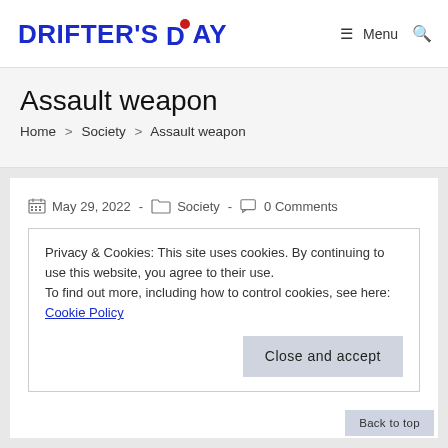DRIFTER'S DAY — Menu (search icon)
Assault weapon
Home > Society > Assault weapon
May 29, 2022 - Society - 0 Comments
Privacy & Cookies: This site uses cookies. By continuing to use this website, you agree to their use.
To find out more, including how to control cookies, see here: Cookie Policy
Close and accept
Back to top